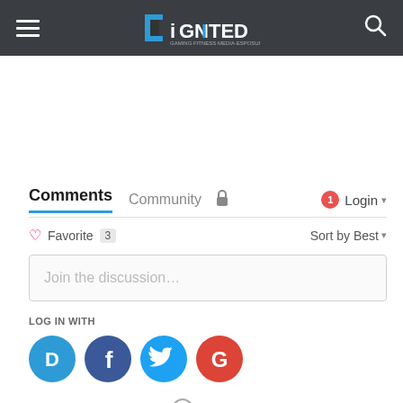DiGNITED (navigation bar with hamburger menu, logo, and search icon)
[Figure (screenshot): Disqus comments widget showing Comments and Community tabs, Favorite count 3, Sort by Best option, Join the discussion input box, LOG IN WITH social buttons (Disqus, Facebook, Twitter, Google), and OR SIGN UP WITH DISQUS option.]